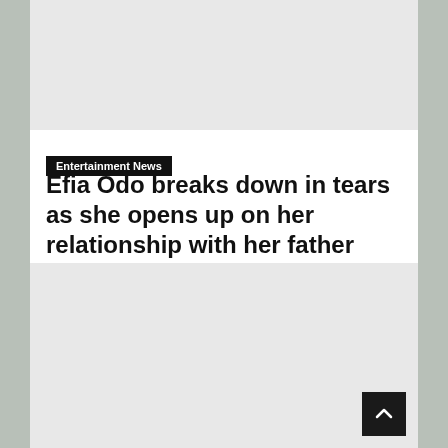[Figure (other): Top advertisement placeholder — light gray rectangle]
Entertainment News
Efia Odo breaks down in tears as she opens up on her relationship with her father
Ghanaian actress and brand influencer, Andrea Owusu, who is popularly known as Efia Odo, has opened up on the relationship between herself and her father....
[Figure (other): Bottom advertisement placeholder — light gray rectangle]